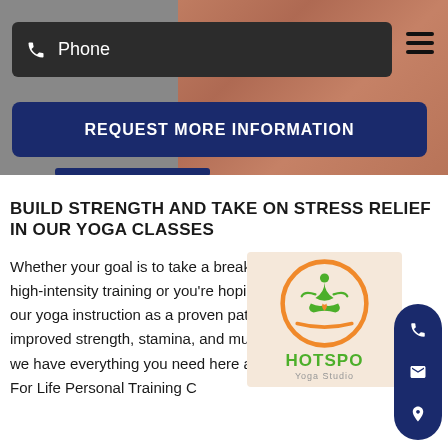[Figure (screenshot): Phone input bar with dark background and phone icon, and hamburger menu icon on the right]
[Figure (screenshot): REQUEST MORE INFORMATION dark navy button]
BUILD STRENGTH AND TAKE ON STRESS RELIEF IN OUR YOGA CLASSES
Whether your goal is to take a break from your high-intensity training or you're hoping to use our yoga instruction as a proven path to improved strength, stamina, and muscle toning, we have everything you need here at Fitness For Life Personal Training C
[Figure (logo): Hotspot Yoga Studio logo - orange circle with green yoga figure and flame inside, text HOTSPOT and Yoga Studio below]